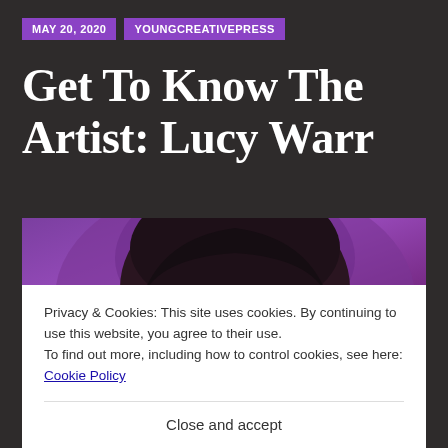MAY 20, 2020    YOUNGCREATIVEPRESS
Get To Know The Artist: Lucy Warr
[Figure (photo): Photo of Lucy Warr against a purple background, showing the top of her head with dark hair and a sparkly hair accessory]
Privacy & Cookies: This site uses cookies. By continuing to use this website, you agree to their use.
To find out more, including how to control cookies, see here: Cookie Policy
Close and accept